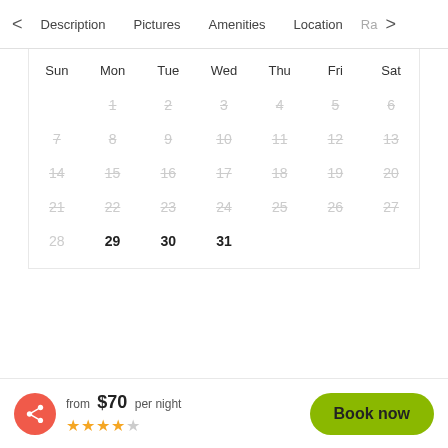< Description  Pictures  Amenities  Location  Ra >
| Sun | Mon | Tue | Wed | Thu | Fri | Sat |
| --- | --- | --- | --- | --- | --- | --- |
|  | 1 | 2 | 3 | 4 | 5 | 6 |
| 7 | 8 | 9 | 10 | 11 | 12 | 13 |
| 14 | 15 | 16 | 17 | 18 | 19 | 20 |
| 21 | 22 | 23 | 24 | 25 | 26 | 27 |
| 28 | 29 | 30 | 31 |  |  |  |
from $70 per night
Book now